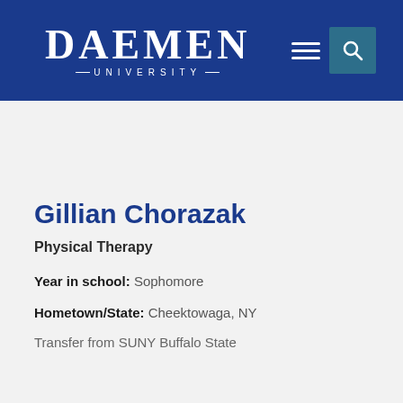Daemen University
Gillian Chorazak
Physical Therapy
Year in school: Sophomore
Hometown/State: Cheektowaga, NY
Transfer from SUNY Buffalo State